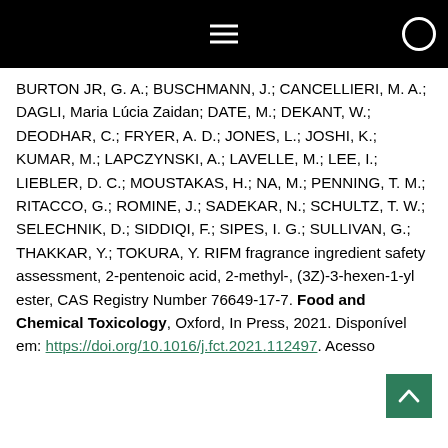Navigation bar with hamburger menu icon
BURTON JR, G. A.; BUSCHMANN, J.; CANCELLIERI, M. A.; DAGLI, Maria Lúcia Zaidan; DATE, M.; DEKANT, W.; DEODHAR, C.; FRYER, A. D.; JONES, L.; JOSHI, K.; KUMAR, M.; LAPCZYNSKI, A.; LAVELLE, M.; LEE, I.; LIEBLER, D. C.; MOUSTAKAS, H.; NA, M.; PENNING, T. M.; RITACCO, G.; ROMINE, J.; SADEKAR, N.; SCHULTZ, T. W.; SELECHNIK, D.; SIDDIQI, F.; SIPES, I. G.; SULLIVAN, G.; THAKKAR, Y.; TOKURA, Y. RIFM fragrance ingredient safety assessment, 2-pentenoic acid, 2-methyl-, (3Z)-3-hexen-1-yl ester, CAS Registry Number 76649-17-7. Food and Chemical Toxicology, Oxford, In Press, 2021. Disponível em: https://doi.org/10.1016/j.fct.2021.112497. Acesso